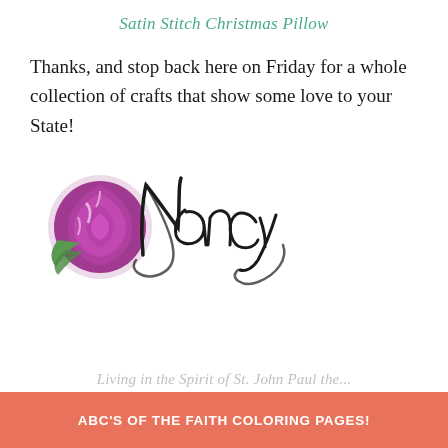Satin Stitch Christmas Pillow
Thanks, and stop back here on Friday for a whole collection of crafts that show some love to your State!
[Figure (logo): Nancy signature logo with a purple rose flower graphic on the left and stylized cursive 'Nancy' text in black script]
Living in the Spirit of St. John Paul the...
ABC'S OF THE FAITH COLORING PAGES!